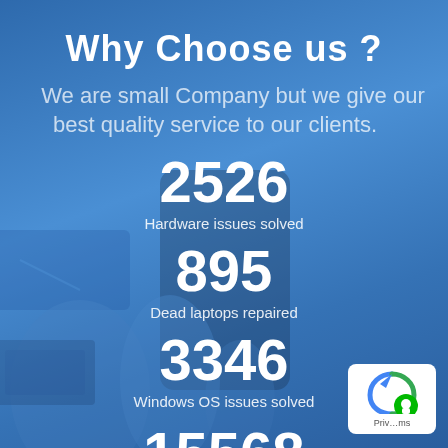Why Choose us ?
We are small Company but we give our best quality service to our clients.
[Figure (infographic): Background photo of phone repair parts, battery, disassembled devices and gloved hands on blue surface, overlaid with statistics]
2526
Hardware issues solved
895
Dead laptops repaired
3346
Windows OS issues solved
15568